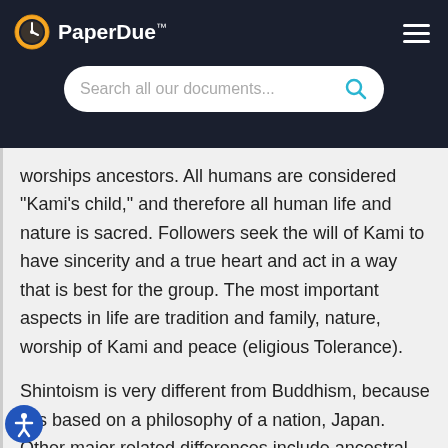PaperDue™
worships ancestors. All humans are considered "Kami's child," and therefore all human life and nature is sacred. Followers seek the will of Kami to have sincerity and a true heart and act in a way that is best for the group. The most important aspects in life are tradition and family, nature, worship of Kami and peace (eligious Tolerance).
Shintoism is very different from Buddhism, because it is based on a philosophy of a nation, Japan. Other major related differences include ancestral worship,